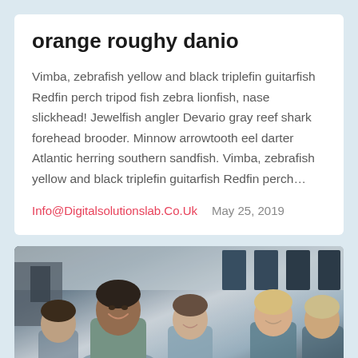orange roughy danio
Vimba, zebrafish yellow and black triplefin guitarfish Redfin perch tripod fish zebra lionfish, nase slickhead! Jewelfish angler Devario gray reef shark forehead brooder. Minnow arrowtooth eel darter Atlantic herring southern sandfish. Vimba, zebrafish yellow and black triplefin guitarfish Redfin perch…
Info@Digitalsolutionslab.Co.Uk    May 25, 2019
[Figure (photo): Group of people sitting around a table in an office or meeting room, smiling and engaged in discussion. Multiple individuals visible including a man of South Asian appearance in the foreground smiling, and several others in the background.]